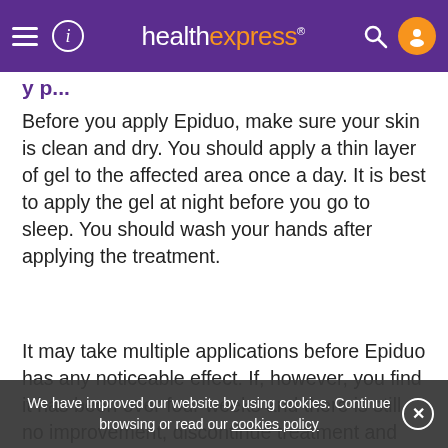healthexpress
Before you apply Epiduo, make sure your skin is clean and dry. You should apply a thin layer of gel to the affected area once a day. It is best to apply the gel at night before you go to sleep. You should wash your hands after applying the treatment.
It may take multiple applications before Epiduo has any noticeable effect. If, however, you find it has been over four weeks and there is still no improvement, discontinue treatment and inform your doctor.
If you get any gel in your eyes, mouth and nostrils wash out gently with warm water. You should not use any cosmetics before or immediately after using Epiduo, which is partly why a bedtime application is best.
We have improved our website by using cookies. Continue browsing or read our cookies policy